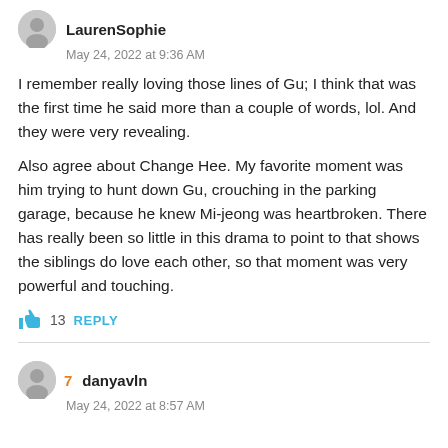LaurenSophie
May 24, 2022 at 9:36 AM
I remember really loving those lines of Gu; I think that was the first time he said more than a couple of words, lol. And they were very revealing.
Also agree about Change Hee. My favorite moment was him trying to hunt down Gu, crouching in the parking garage, because he knew Mi-jeong was heartbroken. There has really been so little in this drama to point to that shows the siblings do love each other, so that moment was very powerful and touching.
13  REPLY
7  danyavln
May 24, 2022 at 8:57 AM